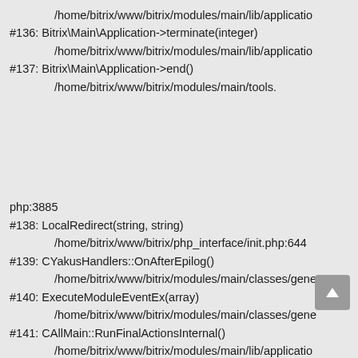/home/bitrix/www/bitrix/modules/main/lib/applicatio
#136: Bitrix\Main\Application->terminate(integer)
        /home/bitrix/www/bitrix/modules/main/lib/applicatio
#137: Bitrix\Main\Application->end()
        /home/bitrix/www/bitrix/modules/main/tools.
php:3885
#138: LocalRedirect(string, string)
        /home/bitrix/www/bitrix/php_interface/init.php:644
#139: CYakusHandlers::OnAfterEpilog()
        /home/bitrix/www/bitrix/modules/main/classes/gene
#140: ExecuteModuleEventEx(array)
        /home/bitrix/www/bitrix/modules/main/classes/gene
#141: CAllMain::RunFinalActionsInternal()
        /home/bitrix/www/bitrix/modules/main/lib/applicatio
#142: Bitrix\Main\Application->terminate(integer)